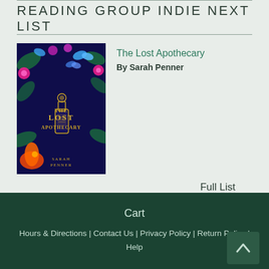READING GROUP INDIE NEXT LIST
[Figure (photo): Book cover of 'The Lost Apothecary' by Sarah Penner — dark blue background with floral and butterfly motifs and a central potion bottle illustration]
The Lost Apothecary
By Sarah Penner
Full List
Cart | Hours & Directions | Contact Us | Privacy Policy | Return Policy | Help